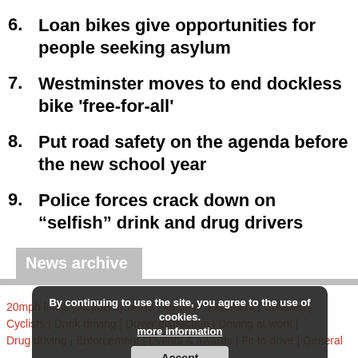6. Loan bikes give opportunities for people seeking asylum
7. Westminster moves to end dockless bike 'free-for-all'
8. Put road safety on the agenda before the new school year
9. Police forces crack down on “selfish” drink and drug drivers
News archive
20mph limits | Academy news | Autumn Statement | Children | Cyclists | Drink driving | Driver distraction | Drug driving | Driving at work | Drug driving | Enforcement | Events & awards | Fit to drive | General | ...
By continuing to use the site, you agree to the use of cookies. more information
Accept